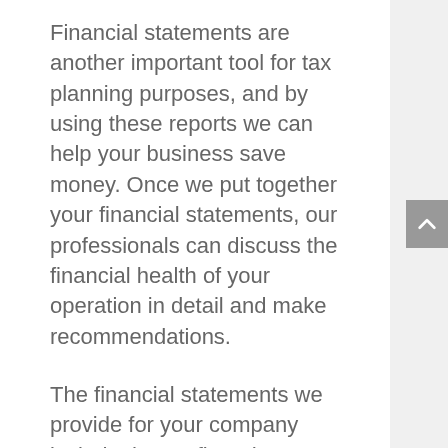Financial statements are another important tool for tax planning purposes, and by using these reports we can help your business save money. Once we put together your financial statements, our professionals can discuss the financial health of your operation in detail and make recommendations.
The financial statements we provide for your company include the Profit and Loss Statement or P&L, and the Balance Sheet, which details your business assets, liabilities,